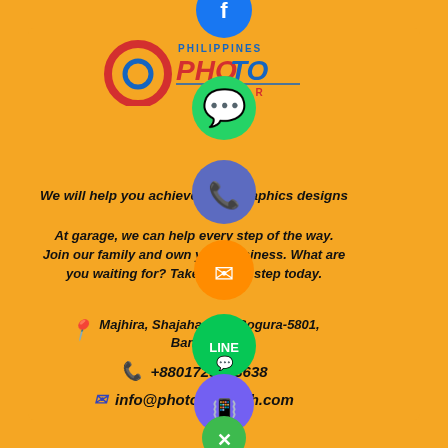[Figure (logo): Philippines Photo Editor logo with circular icon (red/gold/blue swirl), PHILIPPINES text, PHOTO EDITOR text]
We will help you achieve your Graphics designs
At garage, we can help every step of the way. Join our family and own your business. What are you waiting for? Take the first step today.
Majhira, Shajahanpur, Bogura-5801, Bangladesh.
+8801723283638
info@photoeditorph.com
[Figure (infographic): Column of social media circular icons: Facebook (blue), WhatsApp (green), Phone (blue/purple), Email (orange), LINE (green), Viber (purple), close/X (green)]